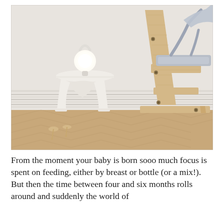[Figure (photo): A wooden Stokke Tripp Trapp high chair with grey infant cushion/harness on the right side, and a white sculptural side table with a glowing white portable lamp on top, on the left. A herringbone parquet wood floor, white wainscoting wall in the background. Two small wooden spinning tops on the floor in the foreground.]
From the moment your baby is born sooo much focus is spent on feeding, either by breast or bottle (or a mix!). But then the time between four and six months rolls around and suddenly the world of